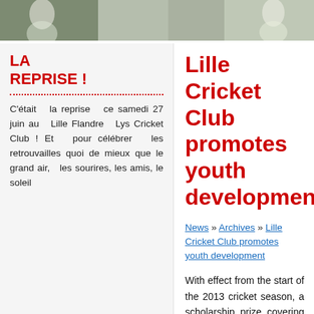[Figure (photo): A banner photo showing cricket players in white uniforms outdoors.]
LA REPRISE !
C'était la reprise ce samedi 27 juin au Lille Flandre Lys Cricket Club ! Et pour célébrer les retrouvailles quoi de mieux que le grand air, les sourires, les amis, le soleil
Lille Cricket Club promotes youth development
News » Archives » Lille Cricket Club promotes youth development
With effect from the start of the 2013 cricket season, a scholarship prize covering the annual subscription of a young cricketer has been put in place.
The scholarship is offered by Philip